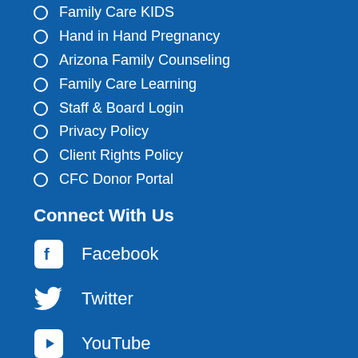Family Care KIDS
Hand in Hand Pregnancy
Arizona Family Counseling
Family Care Learning
Staff & Board Login
Privacy Policy
Client Rights Policy
CFC Donor Portal
Connect With Us
Facebook
Twitter
YouTube